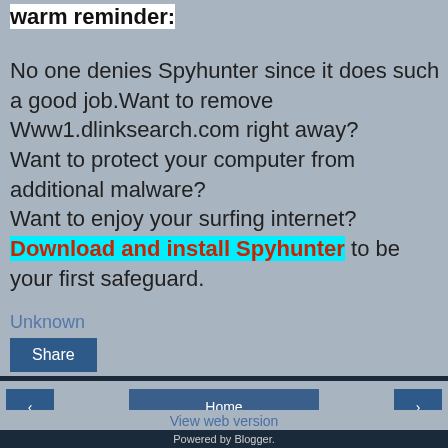warm reminder:
No one denies Spyhunter since it does such a good job.Want to remove Www1.dlinksearch.com right away?
Want to protect your computer from additional malware?
Want to enjoy your surfing internet?
Download and install Spyhunter to be your first safeguard.
Unknown
Share
Home | View web version | Powered by Blogger.